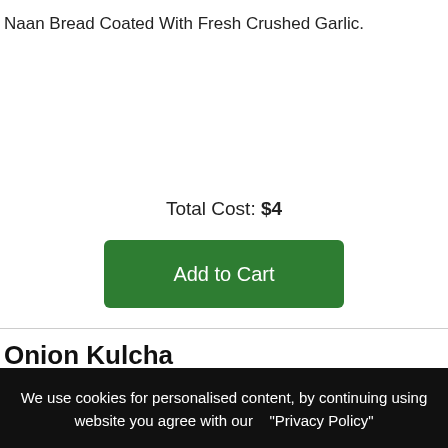Naan Bread Coated With Fresh Crushed Garlic.
Total Cost: $4
Add to Cart
Onion Kulcha
Fillet Bread Stuffed With Crispy Onion, Tomatoes, Coriander And Spices.
We use cookies for personalised content, by continuing using website you agree with our    "Privacy Policy"